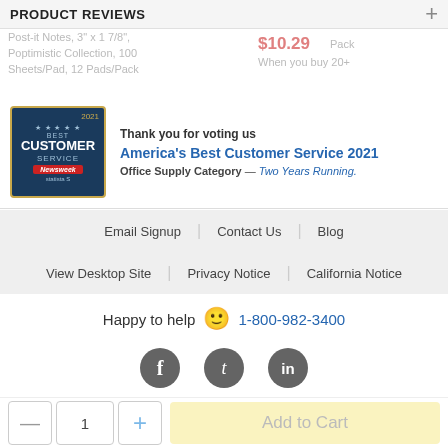PRODUCT REVIEWS
Post-it Notes, 3" x 1 7/8", Poptimistic Collection, 100 Sheets/Pad, 12 Pads/Pack
$10.29 Pack
When you buy 20+
[Figure (infographic): Best Customer Service 2021 badge from Newsweek and Statista, dark blue with gold border]
Thank you for voting us
America's Best Customer Service 2021
Office Supply Category — Two Years Running.
Email Signup
Contact Us
Blog
View Desktop Site
Privacy Notice
California Notice
Happy to help 🙂 1-800-982-3400
[Figure (infographic): Facebook, Twitter, and LinkedIn social media circular icons in dark gray]
Cookie Preferences
Do Not Sell My Personal Information
© 2022 Quill.com
Add to Cart